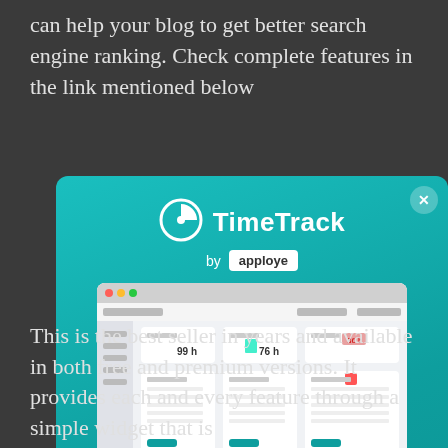can help your blog to get better search engine ranking. Check complete features in the link mentioned below
[Figure (screenshot): TimeTrack by apploye popup advertisement modal with logo, dashboard screenshot, tagline 'One powerful tool to track work hours, make payrolls, and bill clients', and a 'GET FOR FREE' button on a teal gradient background]
This is the best seller in years and available in both free and premium versions. It provides each and every feature through a simple widget that is